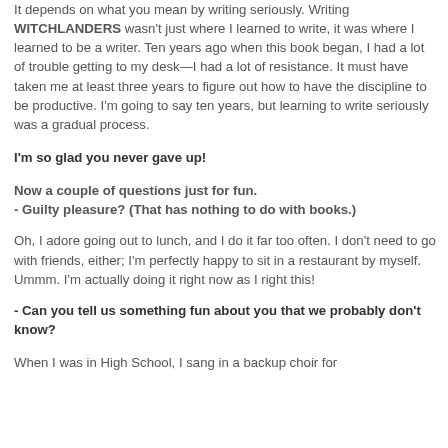It depends on what you mean by writing seriously. Writing WITCHLANDERS wasn't just where I learned to write, it was where I learned to be a writer. Ten years ago when this book began, I had a lot of trouble getting to my desk—I had a lot of resistance. It must have taken me at least three years to figure out how to have the discipline to be productive. I'm going to say ten years, but learning to write seriously was a gradual process.
I'm so glad you never gave up!
Now a couple of questions just for fun.
- Guilty pleasure? (That has nothing to do with books.)
Oh, I adore going out to lunch, and I do it far too often. I don't need to go with friends, either; I'm perfectly happy to sit in a restaurant by myself. Ummm. I'm actually doing it right now as I right this!
- Can you tell us something fun about you that we probably don't know?
When I was in High School, I sang in a backup choir for